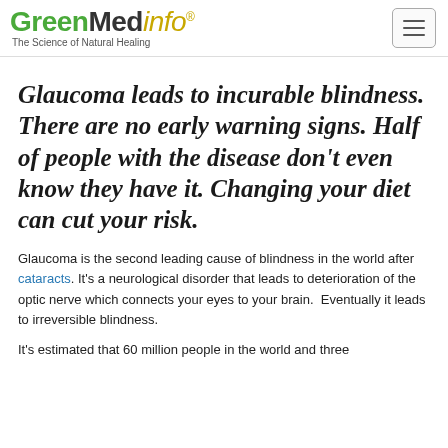GreenMedinfo — The Science of Natural Healing
Glaucoma leads to incurable blindness. There are no early warning signs. Half of people with the disease don't even know they have it. Changing your diet can cut your risk.
Glaucoma is the second leading cause of blindness in the world after cataracts. It's a neurological disorder that leads to deterioration of the optic nerve which connects your eyes to your brain.  Eventually it leads to irreversible blindness.
It's estimated that 60 million people in the world and three